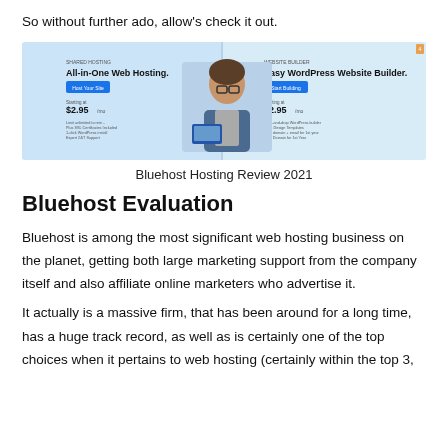So without further ado, allow's check it out.
[Figure (screenshot): Bluehost website screenshot showing 'All-in-One Web Hosting' and 'Easy WordPress Website Builder' sections with pricing at $2.95/mo, a man in a denim jacket, and blue call-to-action buttons.]
Bluehost Hosting Review 2021
Bluehost Evaluation
Bluehost is among the most significant web hosting business on the planet, getting both large marketing support from the company itself and also affiliate online marketers who advertise it.
It actually is a massive firm, that has been around for a long time, has a huge track record, as well as is certainly one of the top choices when it pertains to web hosting (certainly within the top 3,